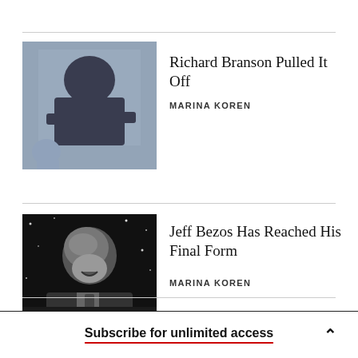[Figure (photo): Photo of Richard Branson in a dark outfit leaning forward]
Richard Branson Pulled It Off
MARINA KOREN
[Figure (photo): Black and white photo of Jeff Bezos looking upward and laughing]
Jeff Bezos Has Reached His Final Form
MARINA KOREN
[Figure (photo): Partial image of a sign or marquee reading something like HOTEL or similar]
The New ‘Right Stuff’ Is Money and Luck
Subscribe for unlimited access